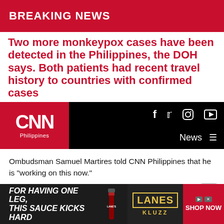BREAKING NEWS
Two more monkeypox cases have been detected in the Philippines, the DOH says. Both patients had recent travel history to countries with confirmed cases
[Figure (logo): CNN Philippines logo and navigation bar with social media icons (Facebook, Twitter, Instagram, YouTube), News menu item, and hamburger menu icon on black background with red CNN logo panel]
Ombudsman Samuel Martires told CNN Philippines that he is "working on this now."
"I just had an initial discussion with some officers who will be assigned to conduct the investigation," Martires said in a text message.
Duterte's pronouncement came amid calls for a revamp at th
[Figure (photo): Advertisement banner: FOR HAVING ONE LEG, THIS SAUCE KICKS HARD - Lane's BBQ sauce advertisement with SHOP NOW button]